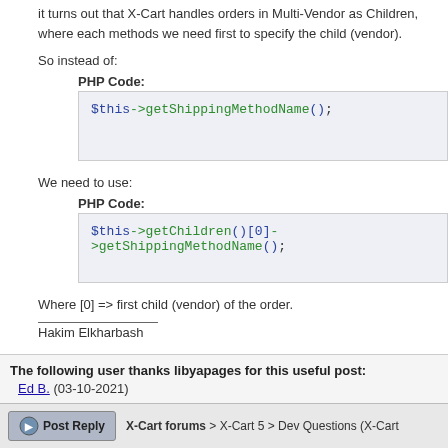it turns out that X-Cart handles orders in Multi-Vendor as Children, where each methods we need first to specify the child (vendor).
So instead of:
PHP Code:
$this->getShippingMethodName();
We need to use:
PHP Code:
$this->getChildren()[0]->getShippingMethodName();
Where [0] => first child (vendor) of the order.
Hakim Elkharbash
The following user thanks libyapages for this useful post:
Ed B. (03-10-2021)
X-Cart forums > X-Cart 5 > Dev Questions (X-Cart